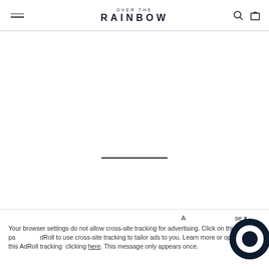OVER THE RAINBOW
[Figure (other): Horizontal divider line in center of page]
A [close] ×
Your browser settings do not allow cross-site tracking for advertising. Click on this page to allow AdRoll to use cross-site tracking to tailor ads to you. Learn more or opt out of this AdRoll tracking by clicking here. This message only appears once.